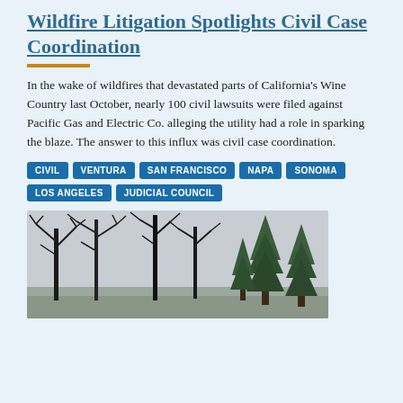Wildfire Litigation Spotlights Civil Case Coordination
In the wake of wildfires that devastated parts of California's Wine Country last October, nearly 100 civil lawsuits were filed against Pacific Gas and Electric Co. alleging the utility had a role in sparking the blaze. The answer to this influx was civil case coordination.
CIVIL
VENTURA
SAN FRANCISCO
NAPA
SONOMA
LOS ANGELES
JUDICIAL COUNCIL
[Figure (photo): Photo of burnt trees with charred bare branches against a grey sky, with some green conifer trees in the background, showing wildfire damage to a forested area.]